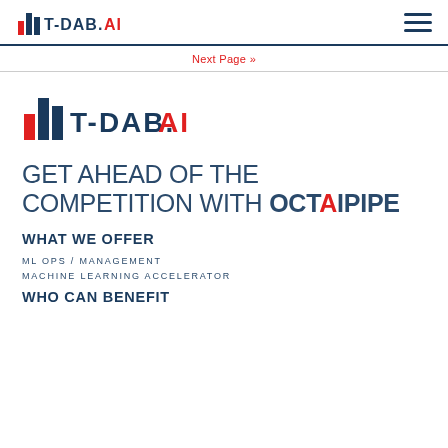T-DAB.AI
Next Page »
[Figure (logo): T-DAB.AI logo with bar chart icon in red and blue, large version in body]
GET AHEAD OF THE COMPETITION WITH OCTAIPIPE
WHAT WE OFFER
ML OPS / MANAGEMENT
MACHINE LEARNING ACCELERATOR
WHO CAN BENEFIT